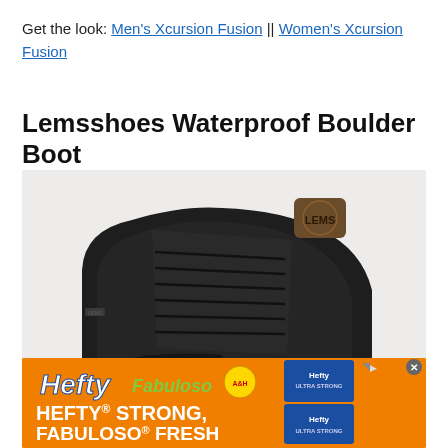Get the look: Men's Xcursion Fusion || Women's Xcursion Fusion
Lemsshoes Waterproof Boulder Boot
[Figure (photo): Close-up photo of a black Lems high-top boot with LEMS logo tab on the heel, black laces, against a light grey background.]
[Figure (infographic): Orange advertisement banner for Hefty and Fabuloso products. Text reads: HEFTY STRONG, FABULOSO FRESH. Shows Hefty trash bag product images.]